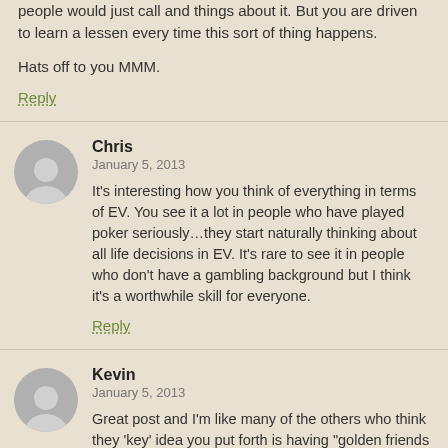people would just call and things about it. But you are driven to learn a lessen every time this sort of thing happens.

Hats off to you MMM.
Reply
Chris
January 5, 2013
It's interesting how you think of everything in terms of EV. You see it a lot in people who have played poker seriously…they start naturally thinking about all life decisions in EV. It's rare to see it in people who don't have a gambling background but I think it's a worthwhile skill for everyone.
Reply
Kevin
January 5, 2013
Great post and I'm like many of the others who think they 'key' idea you put forth is having "golden friends (important for all sorts of stuff other than bursting pipes including health & longevity).